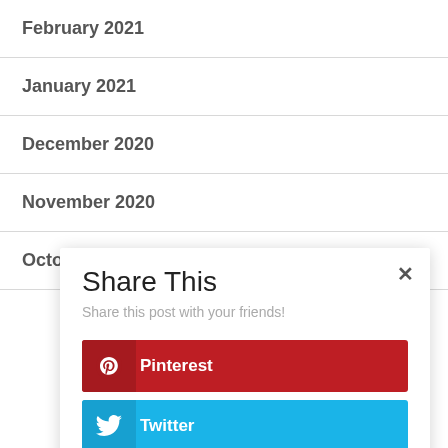February 2021
January 2021
December 2020
November 2020
October 2020
Share This
Share this post with your friends!
Pinterest
Twitter